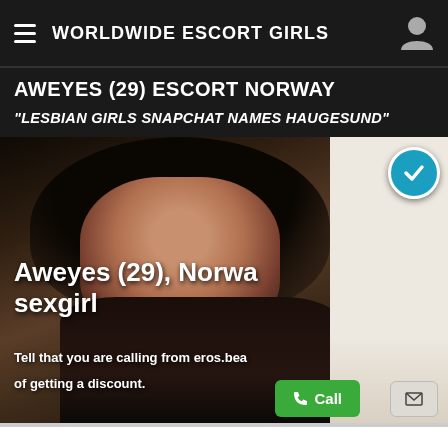WORLDWIDE ESCORT GIRLS
AWEYES (29) ESCORT NORWAY
"LESBIAN GIRLS SNAPCHAT NAMES HAUGESUND"
[Figure (photo): Young woman with long dark hair posing in dark lingerie against a dark ornate background, with a white/blurred background on the right side. A teal verified checkmark badge is shown in the upper right.]
Aweyes (29), Norway sexgirl
Tell that you are calling from eros.bea
of getting a discount.